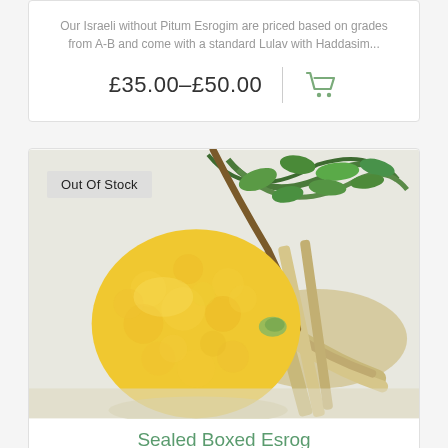Our Israeli without Pitum Esrogim are priced based on grades from A-B and come with a standard Lulav with Haddasim...
£35.00–£50.00
[Figure (photo): Photo of a yellow bumpy esrog (citron) fruit with green myrtle branches and a wrapped lulav bundle on a white background. An 'Out Of Stock' badge overlays the top-left corner.]
Sealed Boxed Esrog